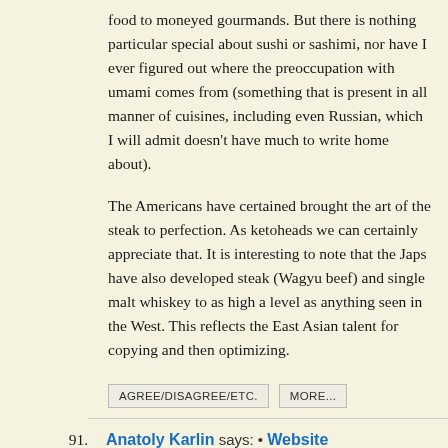food to moneyed gourmands. But there is nothing particular special about sushi or sashimi, nor have I ever figured out where the preoccupation with umami comes from (something that is present in all manner of cuisines, including even Russian, which I will admit doesn't have much to write home about).
The Americans have certained brought the art of the steak to perfection. As ketoheads we can certainly appreciate that. It is interesting to note that the Japs have also developed steak (Wagyu beef) and single malt whiskey to as high a level as anything seen in the West. This reflects the East Asian talent for copying and then optimizing.
AGREE/DISAGREE/ETC.
MORE...
91. Anatoly Karlin says: • Website
July 20, 2018 at 1:02 am GMT • 4.2 years ago • 100 Words ↑
@Thorfinnsson
Also with respect to Mexico in particular, it does seem that the drugs issue is central.